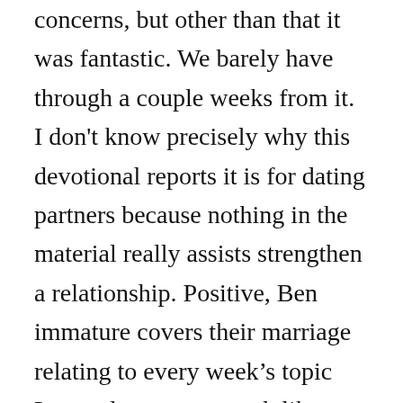concerns, but other than that it was fantastic. We barely have through a couple weeks from it. I don't know precisely why this devotional reports it is for dating partners because nothing in the material really assists strengthen a relationship. Positive, Ben immature covers their marriage relating to every week's topic Love, elegance, an such like.

It definitely checks out like a lot more of a specific study.